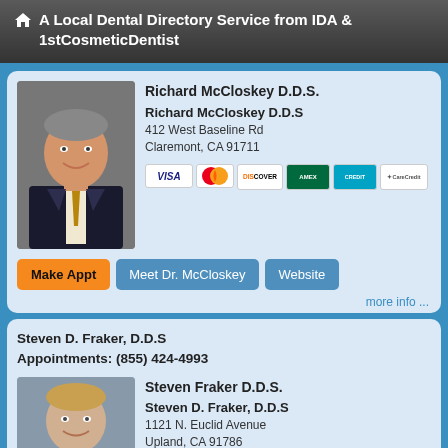A Local Dental Directory Service from IDA & 1stCosmeticDentist
Richard McCloskey D.D.S.
Richard McCloskey D.D.S
412 West Baseline Rd
Claremont, CA 91711
[Figure (photo): Photo of Dr. Richard McCloskey, male dentist in dark suit with gold tie]
[Figure (infographic): Payment card logos: VISA, MasterCard, Discover, American Express, credit card, CareCredit]
Make Appt | Meet Dr. McCloskey | Website
more info ...
Steven D. Fraker, D.D.S
Appointments: (855) 424-4993
Steven Fraker D.D.S.
Steven D. Fraker, D.D.S
1121 N. Euclid Avenue
Upland, CA 91786
[Figure (photo): Photo of Dr. Steven D. Fraker, male dentist smiling]
[Figure (infographic): Payment card logos: VISA, MasterCard, and others]